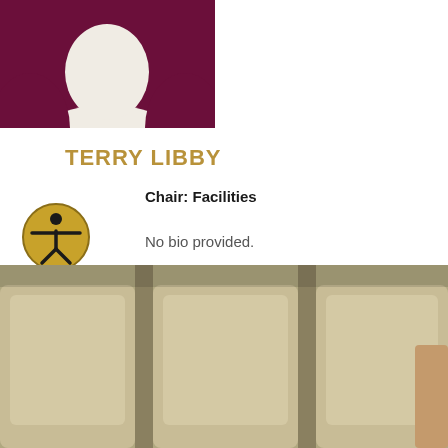[Figure (illustration): Placeholder avatar image: dark maroon/purple background with a white silhouette of a person (head and shoulders), styled as a generic profile placeholder.]
TERRY LIBBY
Chair: Facilities
[Figure (illustration): Accessibility icon: gold/yellow circle with a black stick figure person with arms outstretched (universal accessibility symbol).]
No bio provided.
[Figure (photo): Photo of upholstered chairs/sofa in muted beige/tan tones, partially visible at the bottom of the page.]